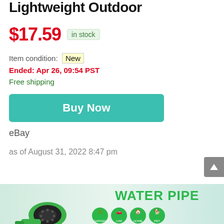Lightweight Outdoor
$17.59  in stock
Item condition: New
Ended: Apr 26, 09:54 PST
Free shipping
Buy Now
eBay
as of August 31, 2022 8:47 pm
[Figure (photo): Product banner showing a green garden hose nozzle with WATER PIPE text and circular icons for GARDEN, CAR, HOME, PET uses]